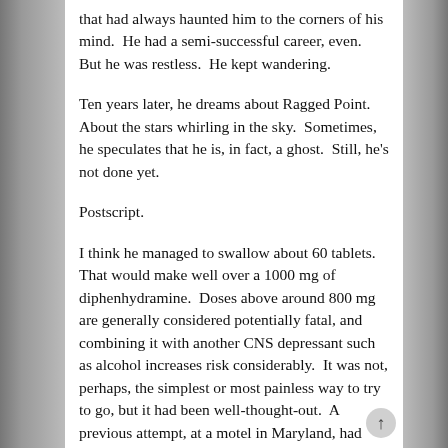that had always haunted him to the corners of his mind.  He had a semi-successful career, even.  But he was restless.  He kept wandering.
Ten years later, he dreams about Ragged Point.  About the stars whirling in the sky.  Sometimes, he speculates that he is, in fact, a ghost.  Still, he's not done yet.
Postscript.
I think he managed to swallow about 60 tablets.  That would make well over a 1000 mg of diphenhydramine.  Doses above around 800 mg are generally considered potentially fatal, and combining it with another CNS depressant such as alcohol increases risk considerably.  It was not, perhaps, the simplest or most painless way to try to go, but it had been well-thought-out.  A previous attempt, at a motel in Maryland, had been ill-considered and unsuccessful... too much